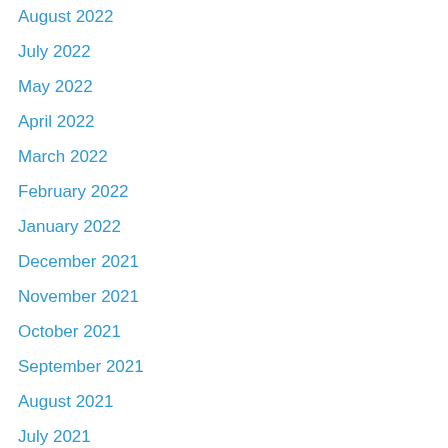August 2022
July 2022
May 2022
April 2022
March 2022
February 2022
January 2022
December 2021
November 2021
October 2021
September 2021
August 2021
July 2021
May 2021
April 2021
February 2021
January 2021
December 2020
November 2020
October 2020